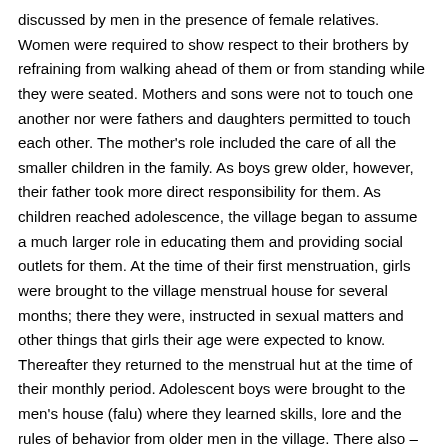discussed by men in the presence of female relatives. Women were required to show respect to their brothers by refraining from walking ahead of them or from standing while they were seated. Mothers and sons were not to touch one another nor were fathers and daughters permitted to touch each other. The mother's role included the care of all the smaller children in the family. As boys grew older, however, their father took more direct responsibility for them. As children reached adolescence, the village began to assume a much larger role in educating them and providing social outlets for them. At the time of their first menstruation, girls were brought to the village menstrual house for several months; there they were, instructed in sexual matters and other things that girls their age were expected to know. Thereafter they returned to the menstrual hut at the time of their monthly period. Adolescent boys were brought to the men's house (falu) where they learned skills, lore and the rules of behavior from older men in the village. There also –at least until colonial times — they were initiated sexually by girls attached to the house.